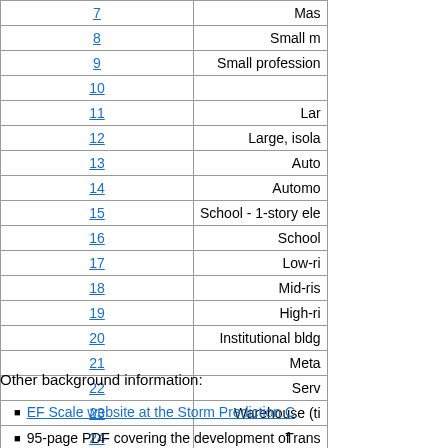| Number | Description |
| --- | --- |
| 7 | Mas... |
| 8 | Small m... |
| 9 | Small profession... |
| 10 |  |
| 11 | Lar... |
| 12 | Large, isola... |
| 13 | Auto... |
| 14 | Automo... |
| 15 | School - 1-story ele... |
| 16 | School ... |
| 17 | Low-ri... |
| 18 | Mid-ris... |
| 19 | High-ri... |
| 20 | Institutional bldg... |
| 21 | Meta... |
| 22 | Serv... |
| 23 | Warehouse (ti... |
| 24 | Trans... |
| 25 | Fre... |
| 26 | Free standing... |
| 27 | Tr... |
| 28 | T... |
Other background information:
EF Scale website at the Storm Prediction C...
95-page PDF covering the development of...